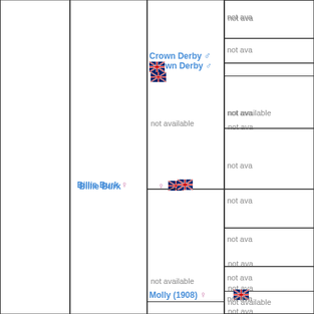[Figure (other): Genealogical pedigree chart showing ancestors of a subject. Columns represent generations. Visible names: Billie Burk (female, UK flag), Crown Derby (male, UK flag), Molly 1908 (female, UK flag). Many ancestor cells show 'not available'.]